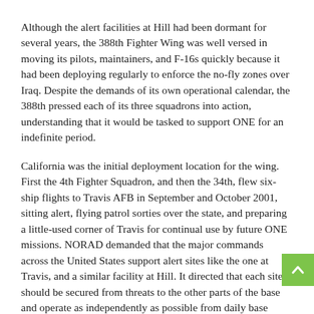Although the alert facilities at Hill had been dormant for several years, the 388th Fighter Wing was well versed in moving its pilots, maintainers, and F-16s quickly because it had been deploying regularly to enforce the no-fly zones over Iraq. Despite the demands of its own operational calendar, the 388th pressed each of its three squadrons into action, understanding that it would be tasked to support ONE for an indefinite period.
California was the initial deployment location for the wing. First the 4th Fighter Squadron, and then the 34th, flew six-ship flights to Travis AFB in September and October 2001, sitting alert, flying patrol sorties over the state, and preparing a little-used corner of Travis for continual use by future ONE missions. NORAD demanded that the major commands across the United States support alert sites like the one at Travis, and a similar facility at Hill. It directed that each site should be secured from threats to the other parts of the base and operate as independently as possible from daily base business. This meant that infrastructure, supplies and facilities had to be built up from temporary, austere conditions; the 4th...